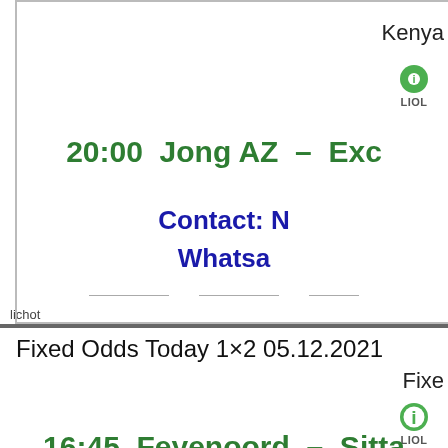Kenya
LION
20:00  Jong AZ  –  Exc
Contact: N
Whatsa
lichot
Fixed Odds Today 1×2 05.12.2021
Fixe
LION
16:45  Feyenoord  –  Sitta